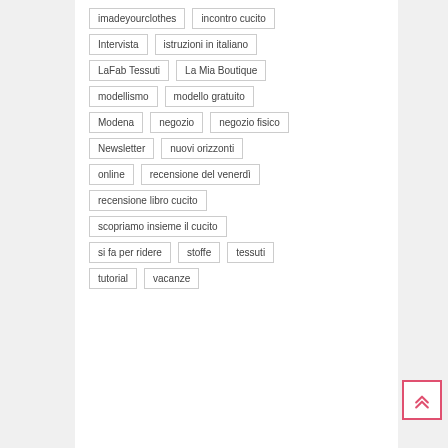imadeyourclothes
incontro cucito
Intervista
istruzioni in italiano
LaFab Tessuti
La Mia Boutique
modellismo
modello gratuito
Modena
negozio
negozio fisico
Newsletter
nuovi orizzonti
online
recensione del venerdì
recensione libro cucito
scopriamo insieme il cucito
si fa per ridere
stoffe
tessuti
tutorial
vacanze